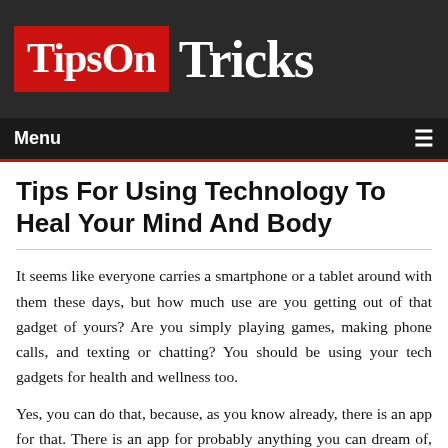[Figure (logo): TipsOn Tricks logo — 'TipsOn' in white bold serif on red background, 'Tricks' in white bold serif on dark background]
Menu ≡
Tips For Using Technology To Heal Your Mind And Body
It seems like everyone carries a smartphone or a tablet around with them these days, but how much use are you getting out of that gadget of yours? Are you simply playing games, making phone calls, and texting or chatting? You should be using your tech gadgets for health and wellness too.
Yes, you can do that, because, as you know already, there is an app for that. There is an app for probably anything you can dream of, so why not download some healthy ones on your